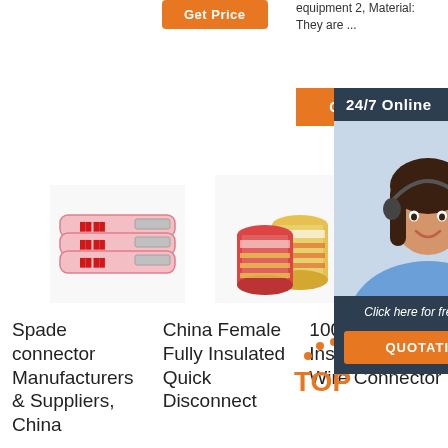[Figure (screenshot): Orange 'Get Price' button]
equipment 2, Material: They are ...
[Figure (screenshot): 24/7 Online chat overlay with agent photo, 'Click here for free chat!' text, and QUOTATION button]
[Figure (photo): Spade connector product image - pink/red insulated spade connectors]
[Figure (photo): China Female Fully Insulated Quick Disconnect - rolls of wire connectors]
[Figure (photo): 100 Female Insulated Spade Wire Connector - colorful connector stack]
Spade connector Manufacturers & Suppliers, China
China Female Fully Insulated Quick Disconnect
100 Female Insulated Spade Wire Connector